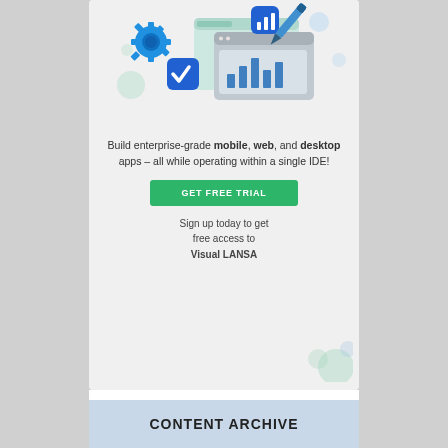[Figure (illustration): 3D illustration of mobile/web/desktop app development tools: gear icon, browser windows, check mark app icon, bar chart app icon, stylus/pen — floating on a light background]
Build enterprise-grade mobile, web, and desktop apps – all while operating within a single IDE!
GET FREE TRIAL
Sign up today to get free access to Visual LANSA
CONTENT ARCHIVE